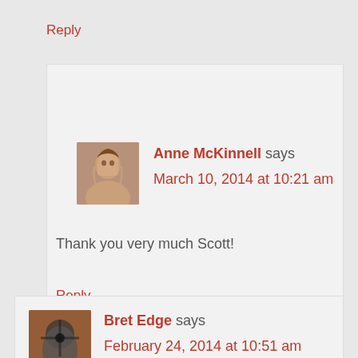Reply
Anne McKinnell says
March 10, 2014 at 10:21 am
Thank you very much Scott!
Reply
Bret Edge says
February 24, 2014 at 10:51 am